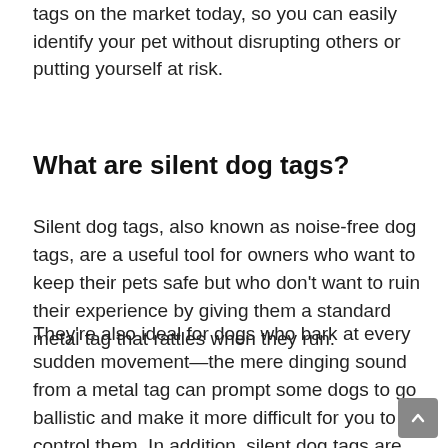tags on the market today, so you can easily identify your pet without disrupting others or putting yourself at risk.
What are silent dog tags?
Silent dog tags, also known as noise-free dog tags, are a useful tool for owners who want to keep their pets safe but who don't want to ruin their experience by giving them a standard metal tag that rattles when they run.
They're also ideal for dogs who bark at every sudden movement—the mere dinging sound from a metal tag can prompt some dogs to go ballistic and make it more difficult for you to control them. In addition, silent dog tags are perfect for people